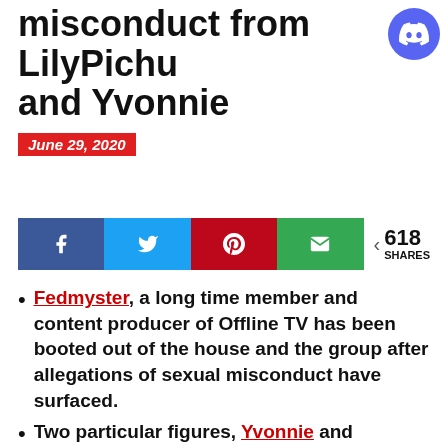[Figure (logo): Discord logo button, circular purple/indigo background with white Discord icon]
misconduct from LilyPichu and Yvonnie
June 29, 2020
[Figure (infographic): Social share buttons bar: Facebook (blue), Twitter (cyan), Pinterest (red), Email (green), with 618 SHARES count]
Fedmyster, a long time member and content producer of Offline TV has been booted out of the house and the group after allegations of sexual misconduct have surfaced.
Two particular figures, Yvonnie and Lilypichu have shared their stories involving Fedmyster
Fedmyster has responded to all of the accusations and his removal from Offline TV